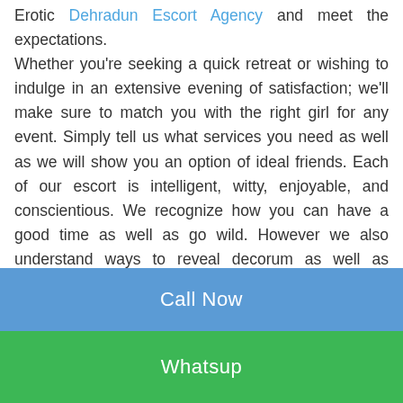Erotic Dehradun Escort Agency and meet the expectations.
Whether you're seeking a quick retreat or wishing to indulge in an extensive evening of satisfaction; we'll make sure to match you with the right girl for any event. Simply tell us what services you need as well as we will show you an option of ideal friends. Each of our escort is intelligent, witty, enjoyable, and conscientious. We recognize how you can have a good time as well as go wild. However we also understand ways to reveal decorum as well as refinement. You will certainly never ever have a boring or unpleasant minute, regardless of the task or social setup!
Call Now
Whatsup